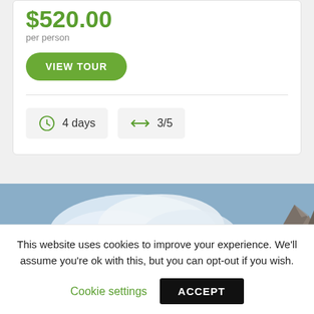$520.00
per person
VIEW TOUR
4 days
3/5
[Figure (photo): Scenic landscape with blue sky, white clouds, and rocky mountain on the right edge]
This website uses cookies to improve your experience. We'll assume you're ok with this, but you can opt-out if you wish.
Cookie settings
ACCEPT